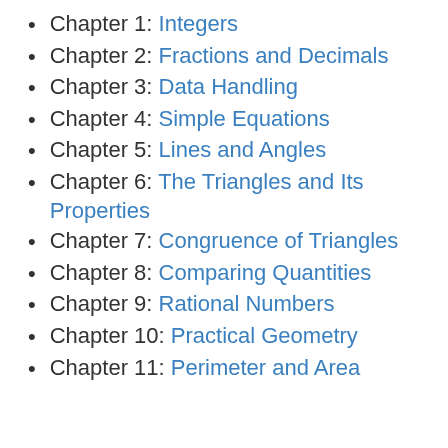Chapter 1: Integers
Chapter 2: Fractions and Decimals
Chapter 3: Data Handling
Chapter 4: Simple Equations
Chapter 5: Lines and Angles
Chapter 6: The Triangles and Its Properties
Chapter 7: Congruence of Triangles
Chapter 8: Comparing Quantities
Chapter 9: Rational Numbers
Chapter 10: Practical Geometry
Chapter 11: Perimeter and Area